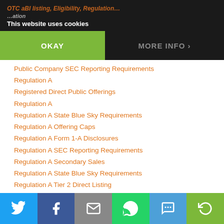This website uses cookies
Public Company SEC Reporting Requirements
Regulation A
Registered Direct Public Offerings
Regulation A
Regulation A State Blue Sky Requirements
Regulation A Offering Caps
Regulation A Form 1-A Disclosures
Regulation A SEC Reporting Requirements
Regulation A Secondary Sales
Regulation A State Blue Sky Requirements
Regulation A Tier 2 Direct Listing
Regulation A Testing the Waters
Regulation A Q&A
Regulation A Form 1-A Disclosures
Regulation CF
Regulation CF Reporting Requirements
Regulation D
Regulation D Bad Actor Ban
Social share bar: Twitter, Facebook, Email, WhatsApp, SMS, Share